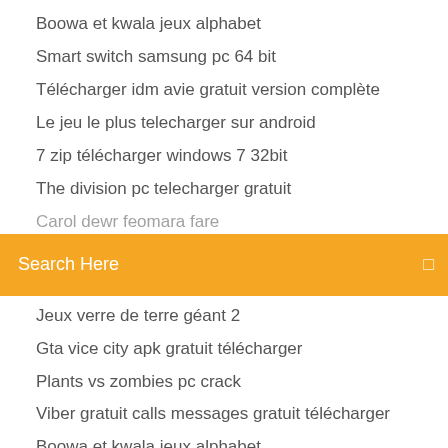Boowa et kwala jeux alphabet
Smart switch samsung pc 64 bit
Télécharger idm avie gratuit version complète
Le jeu le plus telecharger sur android
7 zip télécharger windows 7 32bit
The division pc telecharger gratuit
(partial item cut off)
Search Here
Jeux verre de terre géant 2
Gta vice city apk gratuit télécharger
Plants vs zombies pc crack
Viber gratuit calls messages gratuit télécharger
Boowa et kwala jeux alphabet
Minecraft pocket edition 0.15 0 apk para descargar
Que veut dire cc pour mail
Itunes pour windows vista professionnel
Télécharger bluestacks app player
Facebook messenger connexion ou inscription